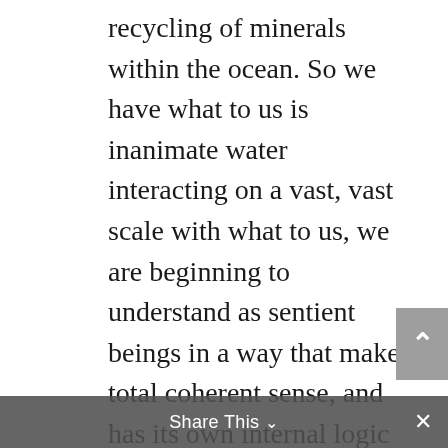recycling of minerals within the ocean. So we have what to us is inanimate water interacting on a vast, vast scale with what to us, we are beginning to understand as sentient beings in a way that makes total coherent sense, and has its own internal logic that we are disrupting. But we'll talk about that later. Can we talk a little bit about this idea of the Ocean being alive?
Glenn: Certainly, yes. Well, I guess the the the starting point for that is to really try and get our head around where the idea came from that environment and life are
Share This ∨ ×